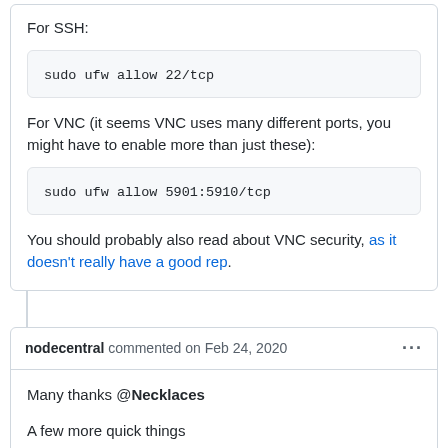For SSH:
sudo ufw allow 22/tcp
For VNC (it seems VNC uses many different ports, you might have to enable more than just these):
sudo ufw allow 5901:5910/tcp
You should probably also read about VNC security, as it doesn't really have a good rep.
nodecentral commented on Feb 24, 2020
Many thanks @Necklaces
A few more quick things
1. Rather than specify individual ports & if I trust my LAN...